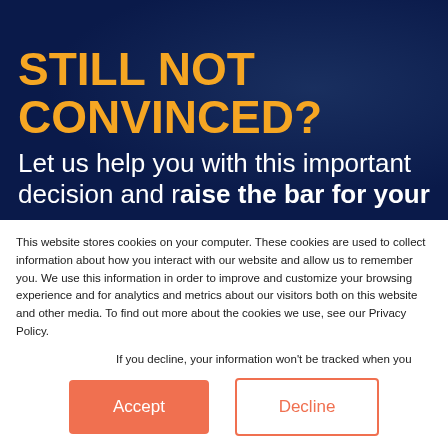STILL NOT CONVINCED?
Let us help you with this important decision and raise the bar for your
This website stores cookies on your computer. These cookies are used to collect information about how you interact with our website and allow us to remember you. We use this information in order to improve and customize your browsing experience and for analytics and metrics about our visitors both on this website and other media. To find out more about the cookies we use, see our Privacy Policy.
If you decline, your information won't be tracked when you visit this website. A single cookie will be used in your browser to remember your preference not to be tracked.
Accept
Decline